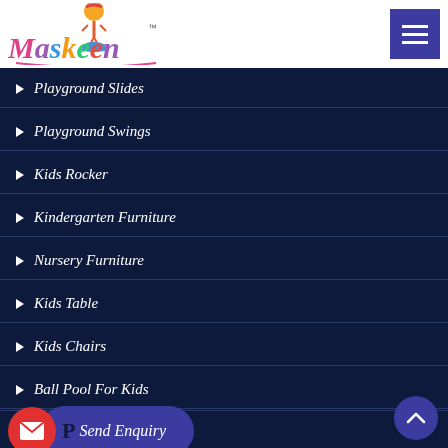[Figure (logo): Maskeen brand logo with colorful text and a child on a rocking horse above the text]
Playground Slides
Playground Swings
Kids Rocker
Kindergarten Furniture
Nursery Furniture
Kids Table
Kids Chairs
Ball Pool For Kids
P...
Preschool Toys